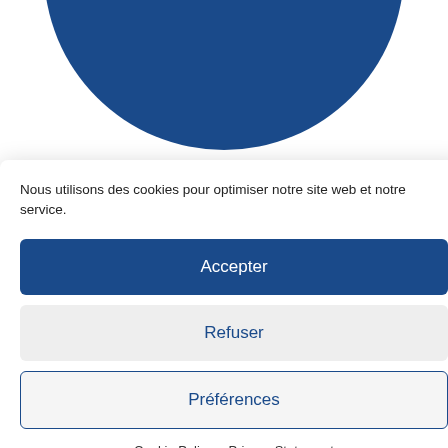[Figure (logo): Dark blue semicircular logo shape at top of page, partially cropped]
Nous utilisons des cookies pour optimiser notre site web et notre service.
Accepter
Refuser
Préférences
Cookie Policy   Privacy Statement
meca trau French